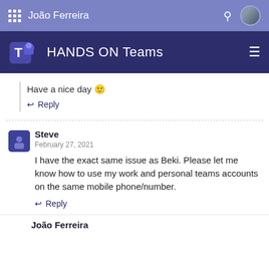João Ferreira
HANDS ON Teams
Have a nice day 🙂
↩ Reply
Steve
February 27, 2021
I have the exact same issue as Beki. Please let me know how to use my work and personal teams accounts on the same mobile phone/number.
↩ Reply
João Ferreira